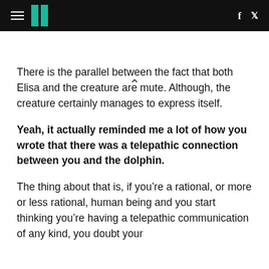HuffPost navigation with logo, facebook and twitter icons
There is the parallel between the fact that both Elisa and the creature are mute. Although, the creature certainly manages to express itself.
Yeah, it actually reminded me a lot of how you wrote that there was a telepathic connection between you and the dolphin.
The thing about that is, if you’re a rational, or more or less rational, human being and you start thinking you’re having a telepathic communication of any kind, you doubt your